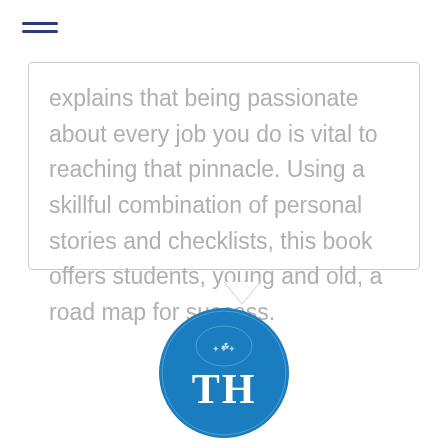[Figure (other): Hamburger menu icon with three horizontal dark blue lines]
explains that being passionate about every job you do is vital to reaching that pinnacle. Using a skillful combination of personal stories and checklists, this book offers students, young and old, a road map for success.
[Figure (logo): TH logo — circular blue badge with white letters TH and a crest/emblem above, The Hindu publication logo]